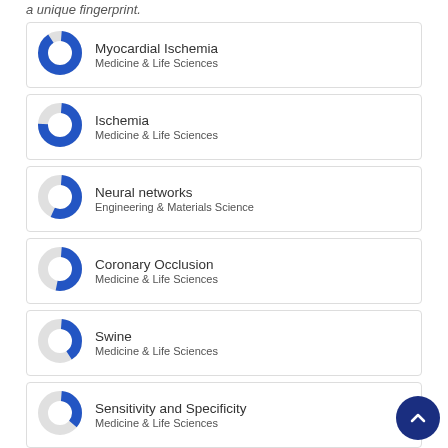a unique fingerprint.
Myocardial Ischemia — Medicine & Life Sciences
Ischemia — Medicine & Life Sciences
Neural networks — Engineering & Materials Science
Coronary Occlusion — Medicine & Life Sciences
Swine — Medicine & Life Sciences
Sensitivity and Specificity — Medicine & Life Sciences